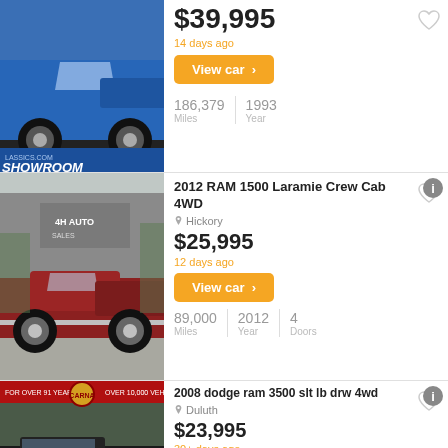$39,995
14 days ago
View car >
186,379 Miles | 1993 Year
2012 RAM 1500 Laramie Crew Cab 4WD
Hickory
$25,995
12 days ago
View car >
89,000 Miles | 2012 Year | 4 Doors
2008 dodge ram 3500 slt lb drw 4wd
Duluth
$23,995
30+ days ago
View car >